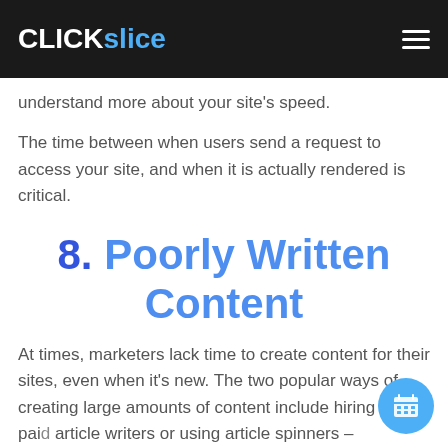CLICK slice
understand more about your site's speed.
The time between when users send a request to access your site, and when it is actually rendered is critical.
8. Poorly Written Content
At times, marketers lack time to create content for their sites, even when it's new. The two popular ways of creating large amounts of content include hiring low paid article writers or using article spinners –